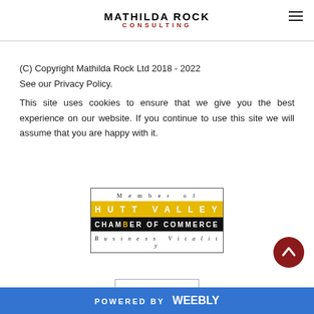MATHILDA ROCK CONSULTING
(C) Copyright Mathilda Rock Ltd 2018 - 2022
See our Privacy Policy.
This site uses cookies to ensure that we give you the best experience on our website. If you continue to use this site we will assume that you are happy with it.
[Figure (logo): Hutt Valley Chamber of Commerce - Business Vitality member badge]
POWERED BY weebly